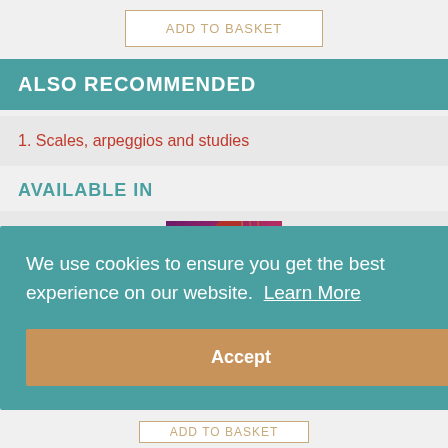ADD TO BASKET
ALSO RECOMMENDED
1. Scales, arpeggios and studies
AVAILABLE IN
[Figure (photo): Book cover with violin strings and orange background, with a 'Bulk Discount' ribbon in the top-left corner]
We use cookies to ensure you get the best experience on our website. Learn More
Accept
ADD TO BASKET